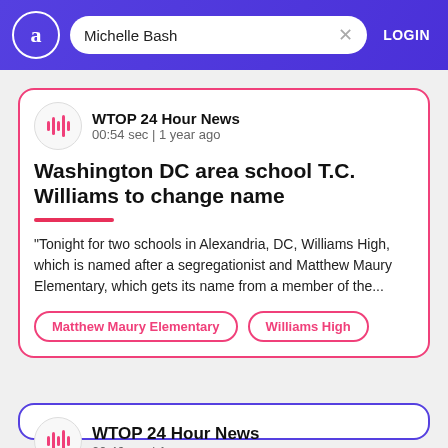Michelle Bash | LOGIN
WTOP 24 Hour News
00:54 sec | 1 year ago
Washington DC area school T.C. Williams to change name
"Tonight for two schools in Alexandria, DC, Williams High, which is named after a segregationist and Matthew Maury Elementary, which gets its name from a member of the...
Matthew Maury Elementary
Williams High
WTOP 24 Hour News
00:46 sec | 1 year ago